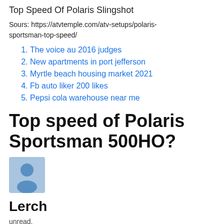Top Speed Of Polaris Slingshot
Sours: https://atvtemple.com/atv-setups/polaris-sportsman-top-speed/
The voice au 2016 judges
New apartments in port jefferson
Myrtle beach housing market 2021
Fb auto liker 200 likes
Pepsi cola warehouse near me
Top speed of Polaris Sportsman 500HO?
[Figure (illustration): Blue user avatar icon on light blue background]
Lerch
unread,
Mar 26, 2002, 1:59:26 AM3/26/02